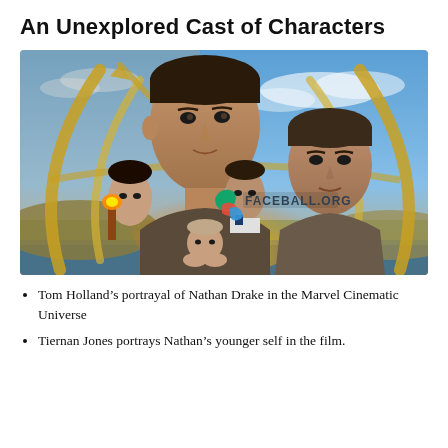An Unexplored Cast of Characters
[Figure (photo): Movie promotional poster for Uncharted (2022) featuring Tom Holland as Nathan Drake in the foreground, Mark Wahlberg to the right, and other cast members including a woman holding a torch, a man in suit, and another character at the bottom. Background shows a golden compass/astrolabe ring structure against a blue sky with clouds. A watermark reads FACEBALL.ORG.]
Tom Holland’s portrayal of Nathan Drake in the Marvel Cinematic Universe
Tiernan Jones portrays Nathan’s younger self in the film.